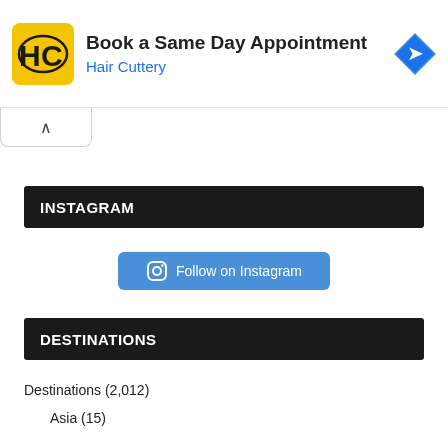[Figure (screenshot): Hair Cuttery advertisement banner with yellow logo, 'Book a Same Day Appointment' title, 'Hair Cuttery' subtitle in blue, and a blue navigation arrow icon on the right]
[Figure (screenshot): Ad controls: small play/triangle icon and X icon on the left side]
[Figure (screenshot): Collapse tab with upward caret symbol]
INSTAGRAM
[Figure (screenshot): Follow on Instagram button with Instagram camera icon, blue rounded rectangle button]
DESTINATIONS
Destinations (2,012)
Asia (15)